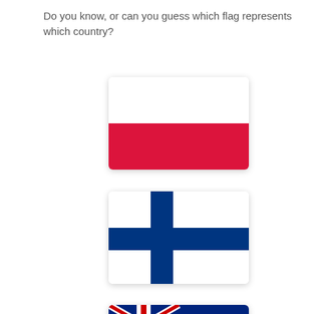Do you know, or can you guess which flag represents which country?
[Figure (illustration): Flag of Poland: white top half and red bottom half, displayed as a card with rounded corners and shadow]
[Figure (illustration): Flag of Finland: white background with a blue Nordic cross, displayed as a card with rounded corners and shadow]
[Figure (illustration): Flag of New Zealand: blue background with Union Jack in top-left and four red stars (Southern Cross) on right, displayed as a card with rounded corners and shadow]
[Figure (illustration): Flag of Tanzania (partially visible): green, black diagonal stripe with yellow border, and blue section, displayed as a card with rounded corners and shadow]